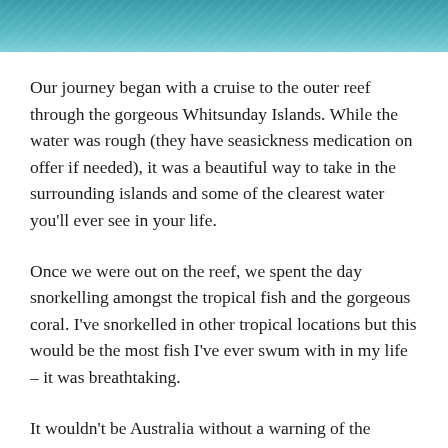[Figure (photo): Aerial or water-level photograph of teal/turquoise ocean water, likely near the Whitsunday Islands or Great Barrier Reef area.]
Our journey began with a cruise to the outer reef through the gorgeous Whitsunday Islands. While the water was rough (they have seasickness medication on offer if needed), it was a beautiful way to take in the surrounding islands and some of the clearest water you'll ever see in your life.
Once we were out on the reef, we spent the day snorkelling amongst the tropical fish and the gorgeous coral. I've snorkelled in other tropical locations but this would be the most fish I've ever swum with in my life – it was breathtaking.
It wouldn't be Australia without a warning of the potential dangers in the ocean though. While deadly stingrays and jellyfish may be present throughout the year, the risk